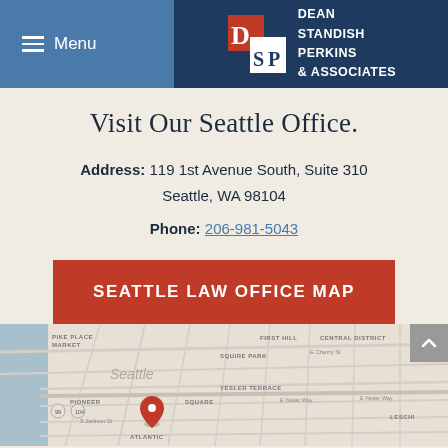Menu | DEAN STANDISH PERKINS & ASSOCIATES
Visit Our Seattle Office.
Address: 119 1st Avenue South, Suite 310 Seattle, WA 98104
Phone: 206-981-5043
SEATTLE LAW OFFICE MAP
[Figure (map): Google Maps showing Pioneer Square area in Seattle, WA with a location pin marking the law office at 119 1st Avenue South. Visible neighborhoods include Pike Place Market, First Hill, Squire Park, Central District, Yesler Terrace, Leschi, Atlantic, Pioneer Square, and downtown Seattle.]